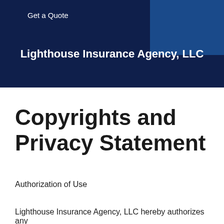Get a Quote
Lighthouse Insurance Agency, LLC
MENU ≡
Copyrights and Privacy Statement
Authorization of Use
Lighthouse Insurance Agency, LLC hereby authorizes any